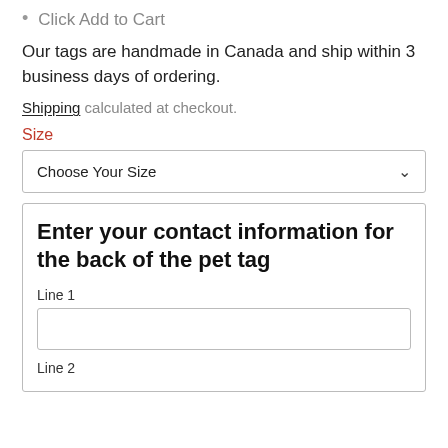Click Add to Cart
Our tags are handmade in Canada and ship within 3 business days of ordering.
Shipping calculated at checkout.
Size
Choose Your Size
Enter your contact information for the back of the pet tag
Line 1
Line 2